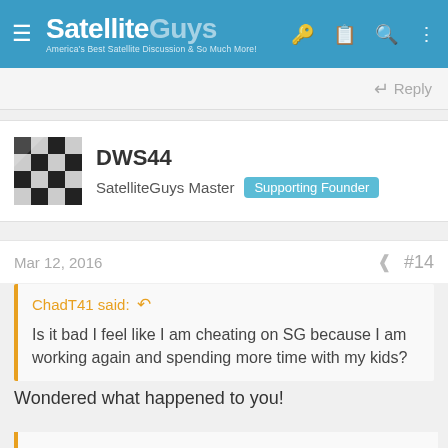SatelliteGuys — America's Best Satellite Discussion & So Much More!
Reply
DWS44
SatelliteGuys Master  Supporting Founder
Mar 12, 2016   #14
ChadT41 said:
Is it bad I feel like I am cheating on SG because I am working again and spending more time with my kids?
Wondered what happened to you!